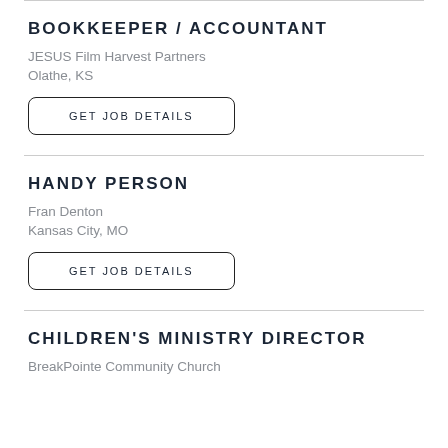BOOKKEEPER / ACCOUNTANT
JESUS Film Harvest Partners
Olathe, KS
GET JOB DETAILS
HANDY PERSON
Fran Denton
Kansas City, MO
GET JOB DETAILS
CHILDREN'S MINISTRY DIRECTOR
BreakPointe Community Church